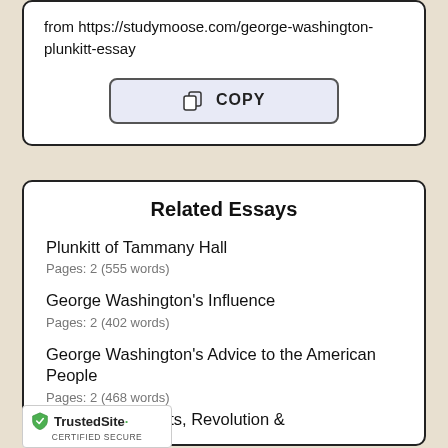from https://studymoose.com/george-washington-plunkitt-essay
[Figure (screenshot): A COPY button with clipboard icon, styled with light blue/lavender background and dark border]
Related Essays
Plunkitt of Tammany Hall
Pages: 2 (555 words)
George Washington's Influence
Pages: 2 (402 words)
George Washington's Advice to the American People
Pages: 2 (468 words)
Washington: Facts, Revolution &...
[Figure (logo): TrustedSite CERTIFIED SECURE badge with green checkmark shield]